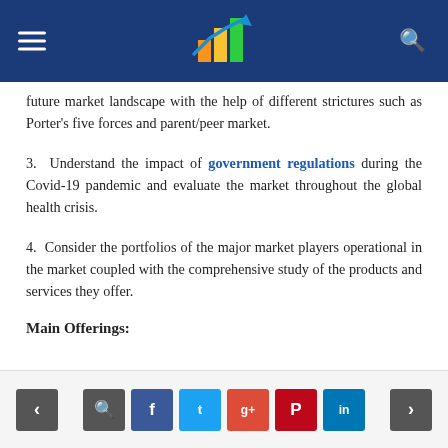[Navigation header with logo, menu, and search]
future market landscape with the help of different strictures such as Porter's five forces and parent/peer market.
3. Understand the impact of government regulations during the Covid-19 pandemic and evaluate the market throughout the global health crisis.
4. Consider the portfolios of the major market players operational in the market coupled with the comprehensive study of the products and services they offer.
Main Offerings:
Navigation and social share buttons: prev, search, facebook, twitter, google+, pinterest, linkedin, next